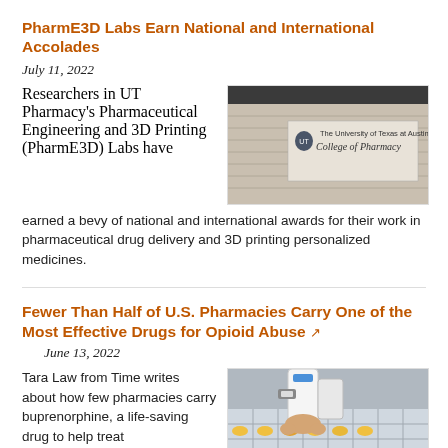PharmE3D Labs Earn National and International Accolades
July 11, 2022
Researchers in UT Pharmacy's Pharmaceutical Engineering and 3D Printing (PharmE3D) Labs have earned a bevy of national and international awards for their work in pharmaceutical drug delivery and 3D printing personalized medicines.
[Figure (photo): The University of Texas at Austin College of Pharmacy building sign]
Fewer Than Half of U.S. Pharmacies Carry One of the Most Effective Drugs for Opioid Abuse
June 13, 2022
Tara Law from Time writes about how few pharmacies carry buprenorphine, a life-saving drug to help treat
[Figure (photo): Person handling medication vials in pharmacy setting]